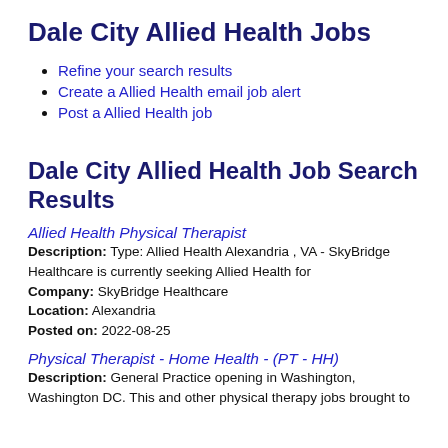Dale City Allied Health Jobs
Refine your search results
Create a Allied Health email job alert
Post a Allied Health job
Dale City Allied Health Job Search Results
Allied Health Physical Therapist
Description: Type: Allied Health Alexandria , VA - SkyBridge Healthcare is currently seeking Allied Health for
Company: SkyBridge Healthcare
Location: Alexandria
Posted on: 2022-08-25
Physical Therapist - Home Health - (PT - HH)
Description: General Practice opening in Washington, Washington DC. This and other physical therapy jobs brought to you by AlliedHealthJobCafe.com | Job Description...